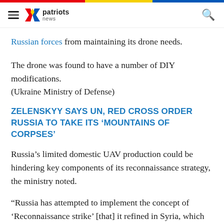patriots news
Russian forces from maintaining its drone needs.
The drone was found to have a number of DIY modifications.
(Ukraine Ministry of Defense)
ZELENSKYY SAYS UN, RED CROSS ORDER RUSSIA TO TAKE ITS 'MOUNTAINS OF CORPSES'
Russia's limited domestic UAV production could be hindering key components of its reconnaissance strategy, the ministry noted.
“Russia has attempted to implement the concept of ‘Reconnaissance strike’ [that] it refined in Syria, which uses reconnaissance UAVs to identify targets to be struck